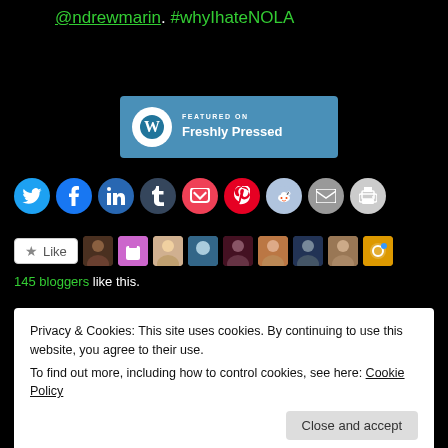@ndrewmarin. #whyIhateNOLA
[Figure (logo): WordPress Freshly Pressed badge on blue background]
[Figure (infographic): Row of social share icon circles: Twitter, Facebook, LinkedIn, Tumblr, Pocket, Pinterest, Reddit, Email, Print]
[Figure (infographic): Like button with star icon and row of blogger avatar thumbnails]
145 bloggers like this.
Privacy & Cookies: This site uses cookies. By continuing to use this website, you agree to their use.
To find out more, including how to control cookies, see here: Cookie Policy
Close and accept